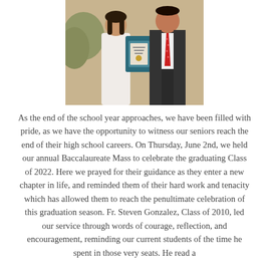[Figure (photo): Two people posing together, one holding a diploma/certificate. One person is wearing a white dress and the other is wearing a dark suit with a red tie.]
As the end of the school year approaches, we have been filled with pride, as we have the opportunity to witness our seniors reach the end of their high school careers. On Thursday, June 2nd, we held our annual Baccalaureate Mass to celebrate the graduating Class of 2022. Here we prayed for their guidance as they enter a new chapter in life, and reminded them of their hard work and tenacity which has allowed them to reach the penultimate celebration of this graduation season. Fr. Steven Gonzalez, Class of 2010, led our service through words of courage, reflection, and encouragement, reminding our current students of the time he spent in those very seats. He read a